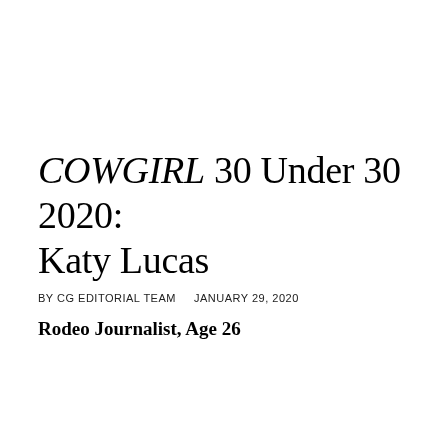COWGIRL 30 Under 30 2020: Katy Lucas
BY CG EDITORIAL TEAM    JANUARY 29, 2020
Rodeo Journalist, Age 26